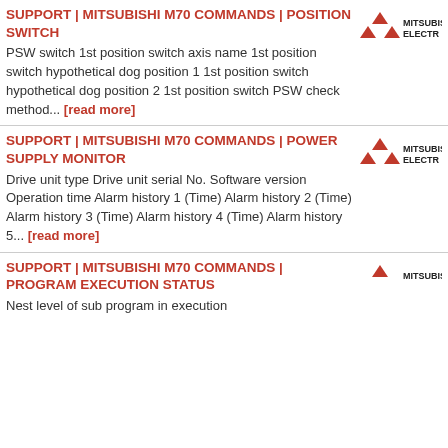SUPPORT | MITSUBISHI M70 COMMANDS | POSITION SWITCH
PSW switch 1st position switch axis name 1st position switch hypothetical dog position 1 1st position switch hypothetical dog position 2 1st position switch PSW check method... [read more]
[Figure (logo): Mitsubishi Electric logo with red diamond symbol and MITSUBISHI ELECTRIC text]
SUPPORT | MITSUBISHI M70 COMMANDS | POWER SUPPLY MONITOR
Drive unit type Drive unit serial No. Software version Operation time Alarm history 1 (Time) Alarm history 2 (Time) Alarm history 3 (Time) Alarm history 4 (Time) Alarm history 5... [read more]
[Figure (logo): Mitsubishi Electric logo with red diamond symbol and MITSUBISHI ELECTRIC text]
SUPPORT | MITSUBISHI M70 COMMANDS | PROGRAM EXECUTION STATUS
Nest level of sub program in execution
[Figure (logo): Mitsubishi Electric logo with red diamond symbol and MITSUBISHI ELECTRIC text (partially visible)]